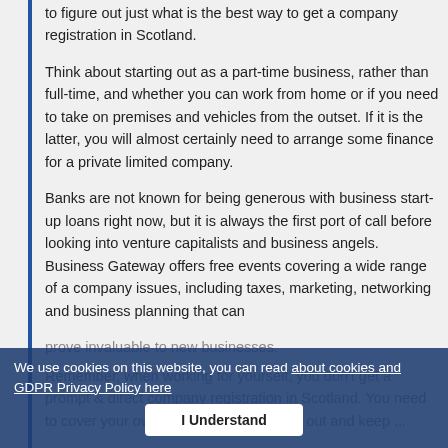to figure out just what is the best way to get a company registration in Scotland.
Think about starting out as a part-time business, rather than full-time, and whether you can work from home or if you need to take on premises and vehicles from the outset. If it is the latter, you will almost certainly need to arrange some finance for a private limited company.
Banks are not known for being generous with business start-up loans right now, but it is always the first port of call before looking into venture capitalists and business angels. Business Gateway offers free events covering a wide range of a company issues, including taxes, marketing, networking and business planning that can prove invaluable to new businesses.
Remember, when working for yourself, you don't get a prompt & direct company registration in Scotland. You need to cover your own expenses until it pays out and keep ...